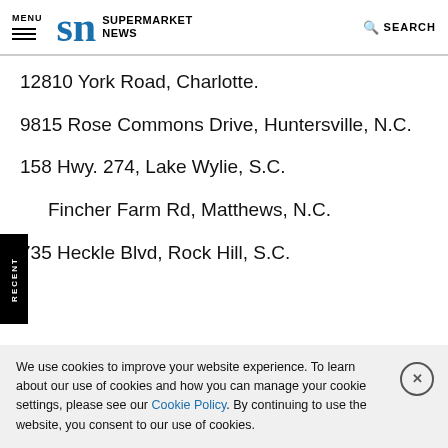MENU | SN SUPERMARKET NEWS | SEARCH
12810 York Road, Charlotte.
9815 Rose Commons Drive, Huntersville, N.C.
158 Hwy. 274, Lake Wylie, S.C.
Fincher Farm Rd, Matthews, N.C.
735 Heckle Blvd, Rock Hill, S.C.
We use cookies to improve your website experience. To learn about our use of cookies and how you can manage your cookie settings, please see our Cookie Policy. By continuing to use the website, you consent to our use of cookies.